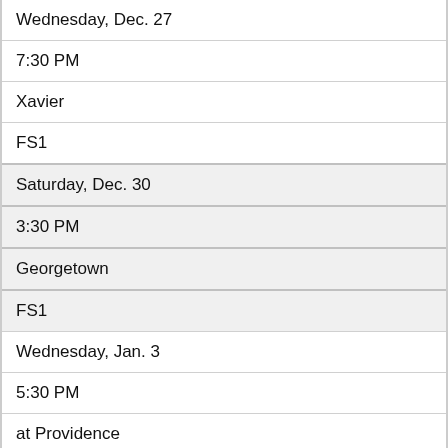| Wednesday, Dec. 27 |
| 7:30 PM |
| Xavier |
| FS1 |
| Saturday, Dec. 30 |
| 3:30 PM |
| Georgetown |
| FS1 |
| Wednesday, Jan. 3 |
| 5:30 PM |
| at Providence |
| CBS SN |
| Saturday, Jan. 6 |